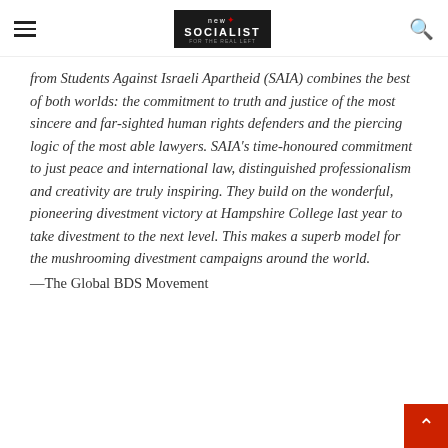New Socialist
from Students Against Israeli Apartheid (SAIA) combines the best of both worlds: the commitment to truth and justice of the most sincere and far-sighted human rights defenders and the piercing logic of the most able lawyers. SAIA’s time-honoured commitment to just peace and international law, distinguished professionalism and creativity are truly inspiring. They build on the wonderful, pioneering divestment victory at Hampshire College last year to take divestment to the next level. This makes a superb model for the mushrooming divestment campaigns around the world.
—The Global BDS Movement